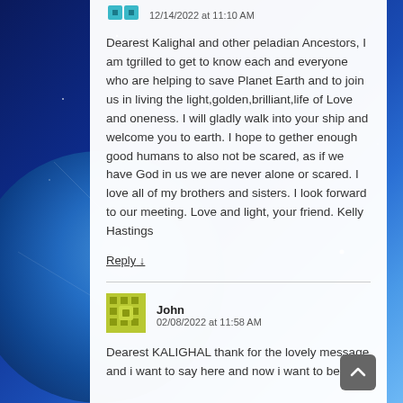Dearest Kalighal and other peladian Ancestors, I am tgrilled to get to know each and everyone who are helping to save Planet Earth and to join us in living the light,golden,brilliant,life of Love and oneness. I will gladly walk into your ship and welcome you to earth. I hope to gether enough good humans to also not be scared, as if we have God in us we are never alone or scared. I love all of my brothers and sisters. I look forward to our meeting. Love and light, your friend. Kelly Hastings
Reply ↓
John
02/08/2022 at 11:58 AM
Dearest KALIGHAL thank for the lovely message and i want to say here and now i want to be